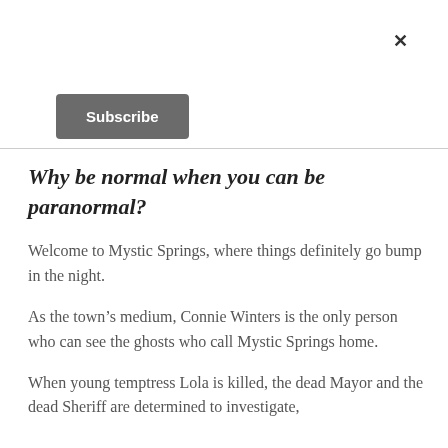[Figure (other): Close button (×) in top-right corner]
[Figure (other): Subscribe button (dark grey rounded rectangle)]
Why be normal when you can be paranormal?
Welcome to Mystic Springs, where things definitely go bump in the night.
As the town's medium, Connie Winters is the only person who can see the ghosts who call Mystic Springs home.
When young temptress Lola is killed, the dead Mayor and the dead Sheriff are determined to investigate,